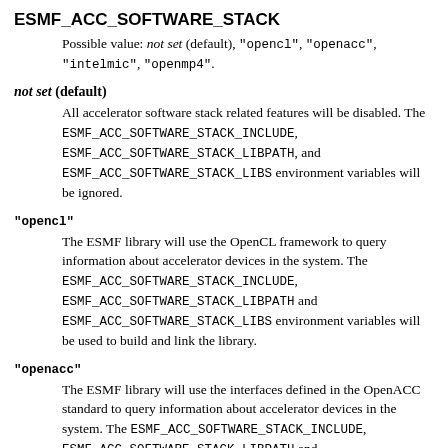ESMF_ACC_SOFTWARE_STACK
Possible value: not set (default), "opencl", "openacc", "intelmic", "openmp4".
not set (default)
All accelerator software stack related features will be disabled. The ESMF_ACC_SOFTWARE_STACK_INCLUDE, ESMF_ACC_SOFTWARE_STACK_LIBPATH, and ESMF_ACC_SOFTWARE_STACK_LIBS environment variables will be ignored.
"opencl"
The ESMF library will use the OpenCL framework to query information about accelerator devices in the system. The ESMF_ACC_SOFTWARE_STACK_INCLUDE, ESMF_ACC_SOFTWARE_STACK_LIBPATH and ESMF_ACC_SOFTWARE_STACK_LIBS environment variables will be used to build and link the library.
"openacc"
The ESMF library will use the interfaces defined in the OpenACC standard to query information about accelerator devices in the system. The ESMF_ACC_SOFTWARE_STACK_INCLUDE, ESMF_ACC_SOFTWARE_STACK_LIBPATH and ESMF_ACC_SOFTWARE_STACK_LIBS environment